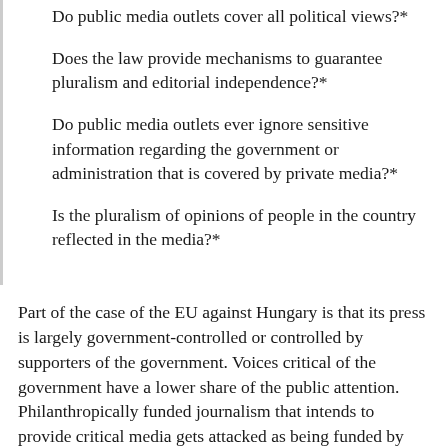Do public media outlets cover all political views?*
Does the law provide mechanisms to guarantee pluralism and editorial independence?*
Do public media outlets ever ignore sensitive information regarding the government or administration that is covered by private media?*
Is the pluralism of opinions of people in the country reflected in the media?*
Part of the case of the EU against Hungary is that its press is largely government-controlled or controlled by supporters of the government. Voices critical of the government have a lower share of the public attention. Philanthropically funded journalism that intends to provide critical media gets attacked as being funded by